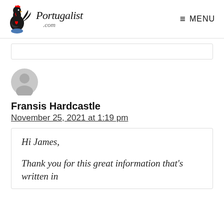Portugalist .com — MENU
[Figure (illustration): Generic user avatar — grey circle with silhouette of a person (head and shoulders)]
Fransis Hardcastle
November 25, 2021 at 1:19 pm
Hi James,

Thank you for this great information that's written in